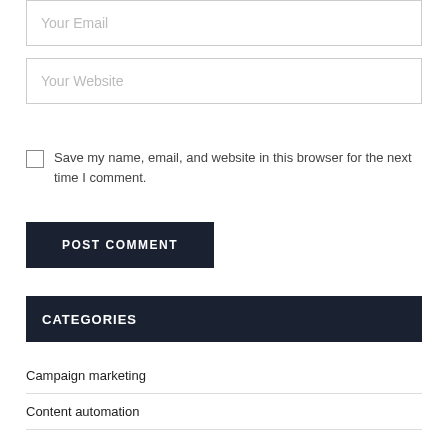[Figure (screenshot): Email input field with placeholder text 'Your Email']
[Figure (screenshot): Website input field with placeholder text 'Your Website']
Save my name, email, and website in this browser for the next time I comment.
[Figure (screenshot): POST COMMENT button, dark navy background with white uppercase text]
CATEGORIES
Campaign marketing
Content automation